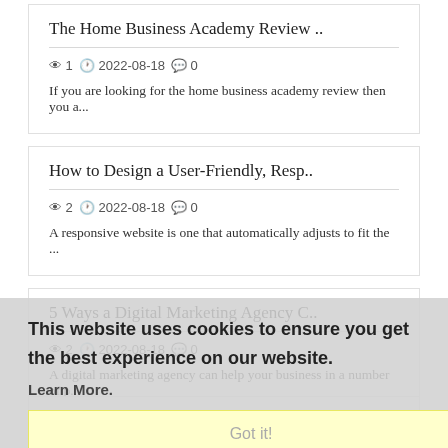The Home Business Academy Review ..
👁 1  🕐 2022-08-18  💬 0
If you are looking for the home business academy review then you a...
How to Design a User-Friendly, Resp..
👁 2  🕐 2022-08-18  💬 0
A responsive website is one that automatically adjusts to fit the ...
5 Ways a Digital Marketing Agency C..
👁 2  🕐 2022-08-18  💬 0
A digital marketing agency can help your business in a number of p...
This website uses cookies to ensure you get the best experience on our website. Learn More.
Got it!
5 Reasons Dream Business Needs a Di..